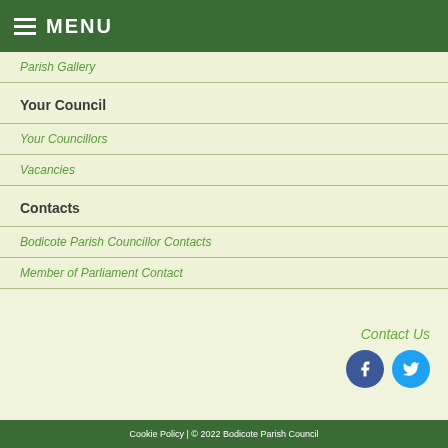MENU
Parish Gallery
Your Council
Your Councillors
Vacancies
Contacts
Bodicote Parish Councillor Contacts
Member of Parliament Contact
Contact Us
Cookie Policy | © 2022 Bodicote Parish Council